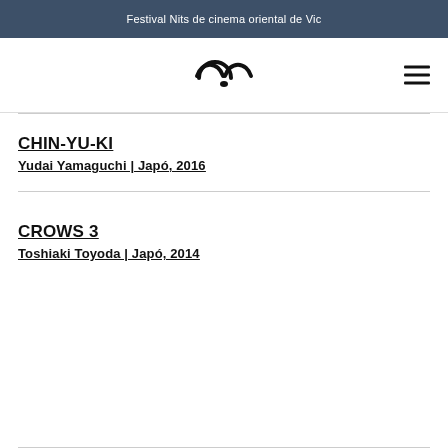Festival Nits de cinema oriental de Vic
[Figure (logo): Stylized panda face logo with two semicircle eyes and a nose, in black outline on white background]
CHIN-YU-KI
Yudai Yamaguchi | Japó, 2016
CROWS 3
Toshiaki Toyoda | Japó, 2014